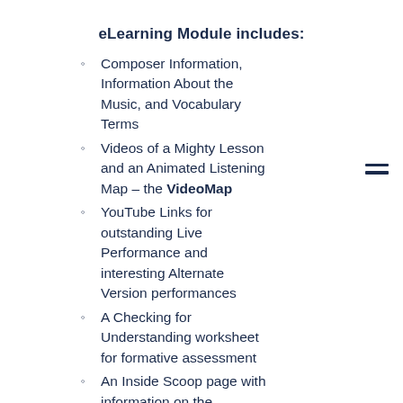eLearning Module includes:
Composer Information, Information About the Music, and Vocabulary Terms
Videos of a Mighty Lesson and an Animated Listening Map – the VideoMap
YouTube Links for outstanding Live Performance and interesting Alternate Version performances
A Checking for Understanding worksheet for formative assessment
An Inside Scoop page with information on the